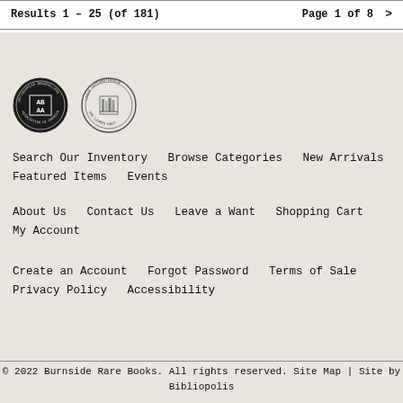Results 1 - 25 (of 181)
Page 1 of 8  >
[Figure (logo): ABAA (Antiquarian Booksellers Association of America) circular badge with AB AA text]
[Figure (logo): ILAB circular badge with bookshelf emblem]
Search Our Inventory   Browse Categories   New Arrivals   Featured Items   Events
About Us   Contact Us   Leave a Want   Shopping Cart   My Account
Create an Account   Forgot Password   Terms of Sale   Privacy Policy   Accessibility
© 2022 Burnside Rare Books. All rights reserved. Site Map | Site by Bibliopolis